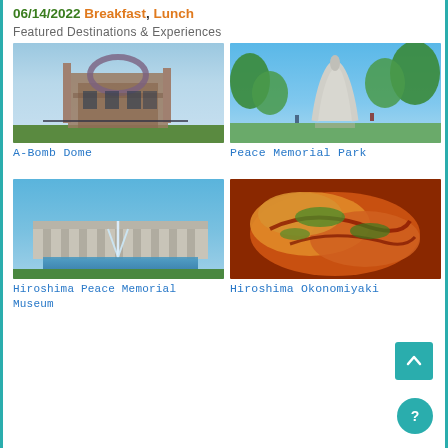06/14/2022 Breakfast, Lunch
Featured Destinations & Experiences
[Figure (photo): A-Bomb Dome ruins in Hiroshima, Japan — bombed out brick dome building against blue sky]
A-Bomb Dome
[Figure (photo): Peace Memorial Park in Hiroshima — tall arch monument statue with green trees behind in sunny weather]
Peace Memorial Park
[Figure (photo): Hiroshima Peace Memorial Museum — large modernist building with fountain in front against blue sky]
Hiroshima Peace Memorial Museum
[Figure (photo): Hiroshima Okonomiyaki — Japanese savory pancake topped with sauce and green flakes, close-up food photo]
Hiroshima Okonomiyaki